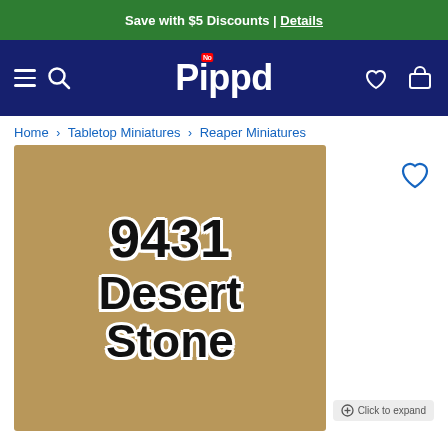Save with $5 Discounts | Details
Pippd
Home > Tabletop Miniatures > Reaper Miniatures
[Figure (photo): Product image for Reaper Miniatures paint number 9431 Desert Stone, showing tan/khaki colored paint swatch with large black text on a sandy brown background]